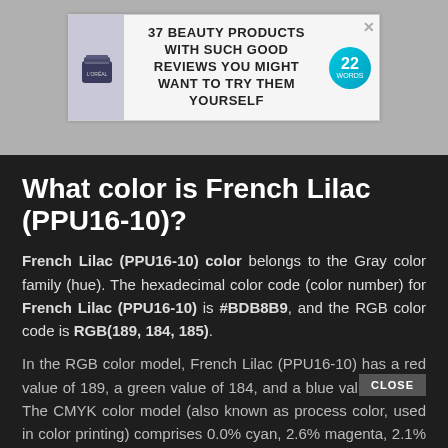[Figure (infographic): Advertisement banner showing a beauty product jar with text '37 BEAUTY PRODUCTS WITH SUCH GOOD REVIEWS YOU MIGHT WANT TO TRY THEM YOURSELF' and a teal badge with '22 WORDS'. Gray background with close X button.]
What color is French Lilac (PPU16-10)?
French Lilac (PPU16-10) color belongs to the Gray color family (hue). The hexadecimal color code (color number) for French Lilac (PPU16-10) is #BDB8B9, and the RGB color code is RGB(189, 184, 185).
In the RGB color model, French Lilac (PPU16-10) has a red value of 189, a green value of 184, and a blue value of 185. The CMYK color model (also known as process color, used in color printing) comprises 0.0% cyan, 2.6% magenta, 2.1% yellow, and 25.9% key (black). The HSL color scale has a hue of 348° (degrees), 3.6 % saturation, and 73.1 % lightness. In the